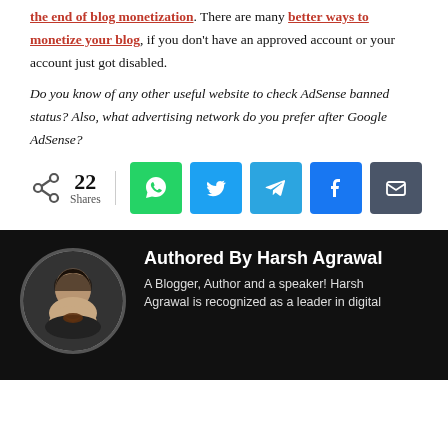the end of blog monetization. There are many better ways to monetize your blog, if you don't have an approved account or your account just got disabled.
Do you know of any other useful website to check AdSense banned status? Also, what advertising network do you prefer after Google AdSense?
[Figure (infographic): Share bar showing 22 Shares with social media buttons: WhatsApp, Twitter, Telegram, Facebook, Email]
[Figure (photo): Author photo of Harsh Agrawal - circular portrait]
Authored By Harsh Agrawal
A Blogger, Author and a speaker! Harsh Agrawal is recognized as a leader in digital